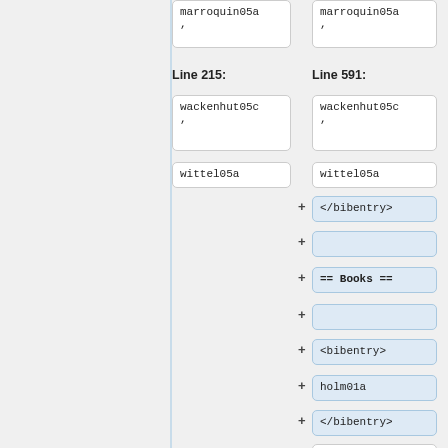marroquin05a ,
marroquin05a ,
Line 215:
Line 591:
wackenhut05c ,
wackenhut05c ,
wittel05a
wittel05a
</bibentry>
== Books ==
<bibentry>
holm01a
</bibentry>
[[Image:Cove